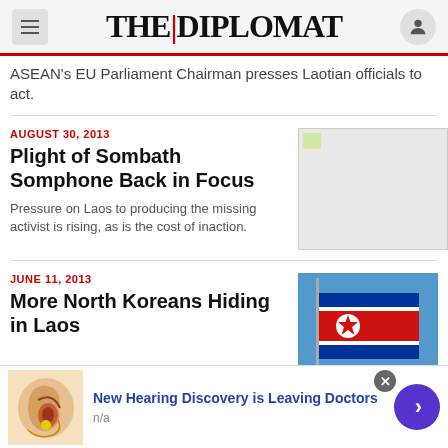THE|DIPLOMAT
ASEAN's EU Parliament Chairman presses Laotian officials to act.
AUGUST 30, 2013
Plight of Sombath Somphone Back in Focus
[Figure (photo): Placeholder image with broken image icon]
Pressure on Laos to producing the missing activist is rising, as is the cost of inaction.
JUNE 11, 2013
More North Koreans Hiding in Laos
[Figure (photo): North Korea flag waving against blue sky]
New Hearing Discovery is Leaving Doctors
n/a